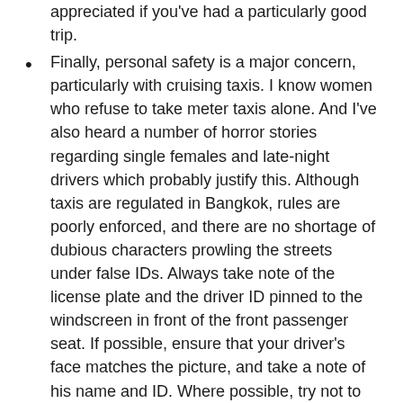appreciated if you've had a particularly good trip.
Finally, personal safety is a major concern, particularly with cruising taxis. I know women who refuse to take meter taxis alone. And I've also heard a number of horror stories regarding single females and late-night drivers which probably justify this. Although taxis are regulated in Bangkok, rules are poorly enforced, and there are no shortage of dubious characters prowling the streets under false IDs. Always take note of the license plate and the driver ID pinned to the windscreen in front of the front passenger seat. If possible, ensure that your driver's face matches the picture, and take a note of his name and ID. Where possible, try not to take a meter taxi alone late at